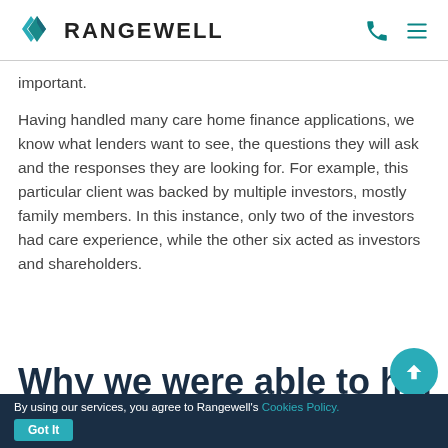RANGEWELL
important.
Having handled many care home finance applications, we know what lenders want to see, the questions they will ask and the responses they are looking for. For example, this particular client was backed by multiple investors, mostly family members. In this instance, only two of the investors had care experience, while the other six acted as investors and shareholders.
Why we were able to hel
By using our services, you agree to Rangewell's Cookies Policy. Got It